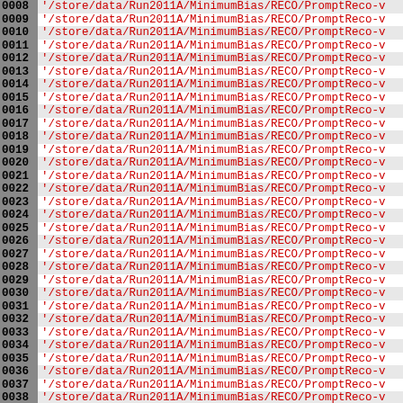Code listing showing file paths: lines 0008-0038, each line showing '/store/data/Run2011A/MinimumBias/RECO/PromptReco-v...'